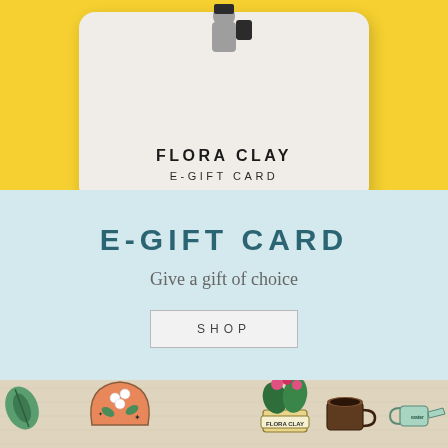[Figure (photo): Yellow background with white rounded gift card showing Flora Clay logo (grey abstract figure) and text 'FLORA CLAY' and 'E-GIFT CARD']
E-GIFT CARD
Give a gift of choice
SHOP
[Figure (photo): Photo of enamel pins on linen fabric: floral arch pin, Flora Clay banner with plant pin, coffee cup and pot pin, watering can pin, and green leaf pin]